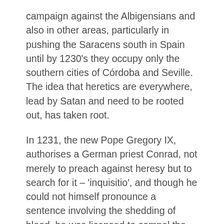campaign against the Albigensians and also in other areas, particularly in pushing the Saracens south in Spain until by 1230's they occupy only the southern cities of Córdoba and Seville. The idea that heretics are everywhere, lead by Satan and need to be rooted out, has taken root.
In 1231, the new Pope Gregory IX, authorises a German priest Conrad, not merely to preach against heresy but to search for it – 'inquisitio', and though he could not himself pronounce a sentence involving the shedding of blood, he was licensed to compel the secular authorities to impose it. Hence a new bread of officials: inquisitors. The burning of heretics became common place. Conrad claimed that the heretics belonged to the Devil and worshiped Satan, the sort of discussions usually dismissed. Eventually Conrad is ambushed and cut down by a group of German